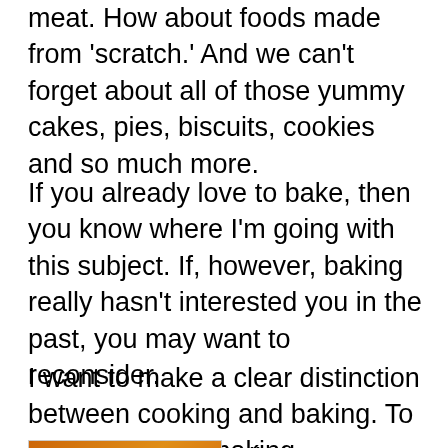meat. How about foods made from 'scratch.' And we can't forget about all of those yummy cakes, pies, biscuits, cookies and so much more.
If you already love to bake, then you know where I'm going with this subject. If, however, baking really hasn't interested you in the past, you may want to reconsider.
I want to make a clear distinction between cooking and baking. To me, cooking is making dinner. It's what you have to do on a daily basis to feed yourself and others. Baking, however, is more like a hobby. It's an endeavor a craft of sorts
[Figure (illustration): Book or album cover showing 'Whistle While You Work!' with cartoon dwarfs sitting on a log, illustrated in warm orange and brown tones]